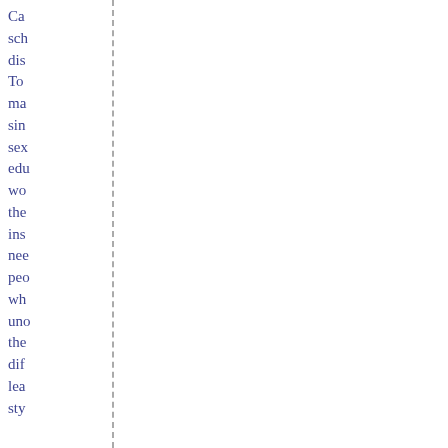Ca sch dis To ma sin sex edu wo the ins nee peo wh un the dif lea sty